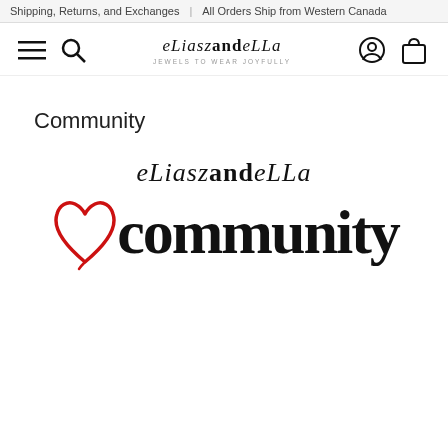Shipping, Returns, and Exchanges | All Orders Ship from Western Canada
[Figure (logo): eLiasz and eLLa brand logo with navigation icons (hamburger menu, search, user account, shopping bag)]
Community
[Figure (logo): eLiasz and eLLa community logo — text 'eLiasz and eLLa' above large bold 'community' with a red hand-drawn heart replacing the letter 'h']